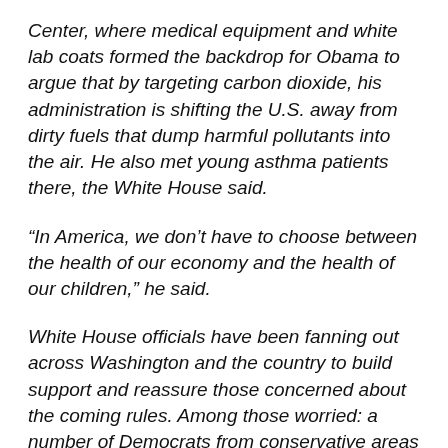Center, where medical equipment and white lab coats formed the backdrop for Obama to argue that by targeting carbon dioxide, his administration is shifting the U.S. away from dirty fuels that dump harmful pollutants into the air. He also met young asthma patients there, the White House said.
“In America, we don’t have to choose between the health of our economy and the health of our children,” he said.
White House officials have been fanning out across Washington and the country to build support and reassure those concerned about the coming rules. Among those worried: a number of Democrats from conservative areas who have openly criticized the rules as they prepare for difficult re-election fights this fall. Obama will echo his argument that the rules will benefit public health during a